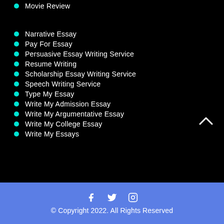Movie Review
Narrative Essay
Pay For Essay
Persuasive Essay Writing Service
Resume Writing
Scholarship Essay Writing Service
Speech Writing Service
Type My Essay
Write My Admission Essay
Write My Argumentative Essay
Write My College Essay
Write My Essays
© Copyright 2022. All Rights Reserved